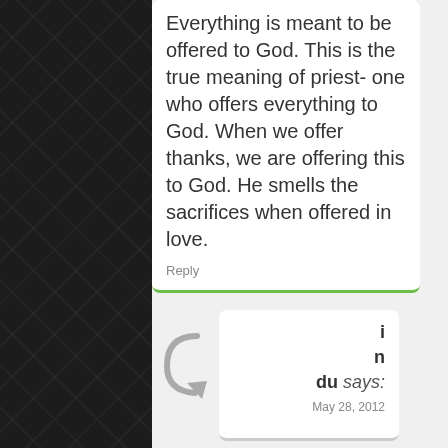Everything is meant to be offered to God. This is the true meaning of priest- one who offers everything to God. When we offer thanks, we are offering this to God. He smells the sacrifices when offered in love.
Reply
indu says: May 28, 2012